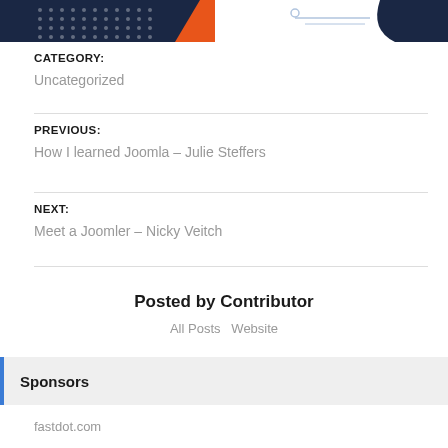[Figure (illustration): Banner image showing dark navy background with dot grid pattern on left side, orange arrow/chevron shape in middle, and white background with abstract graphic on right side]
CATEGORY:
Uncategorized
PREVIOUS:
How I learned Joomla – Julie Steffers
NEXT:
Meet a Joomler – Nicky Veitch
Posted by Contributor
All Posts   Website
Sponsors
fastdot.com